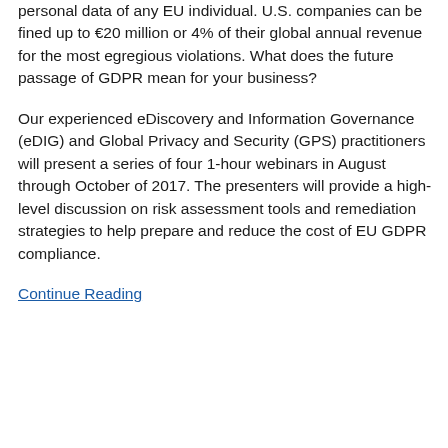personal data of any EU individual. U.S. companies can be fined up to €20 million or 4% of their global annual revenue for the most egregious violations. What does the future passage of GDPR mean for your business?
Our experienced eDiscovery and Information Governance (eDIG) and Global Privacy and Security (GPS) practitioners will present a series of four 1-hour webinars in August through October of 2017. The presenters will provide a high-level discussion on risk assessment tools and remediation strategies to help prepare and reduce the cost of EU GDPR compliance.
Continue Reading